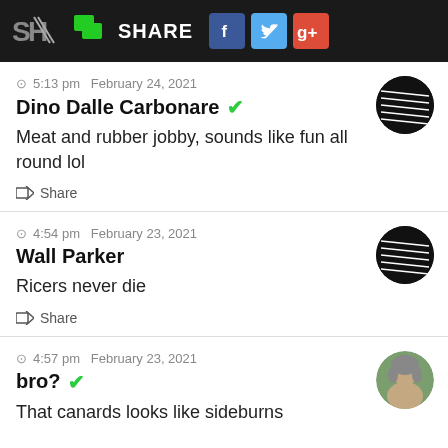SH SHARE [Facebook] [Twitter] [Google+]
5:13 pm  February 24, 2021
Dino Dalle Carbonare ✓
Meat and rubber jobby, sounds like fun all round lol
Share
4:54 pm  February 23, 2021
Wall Parker
Ricers never die
Share
4:57 pm  February 23, 2021
bro? ✓
That canards looks like sideburns